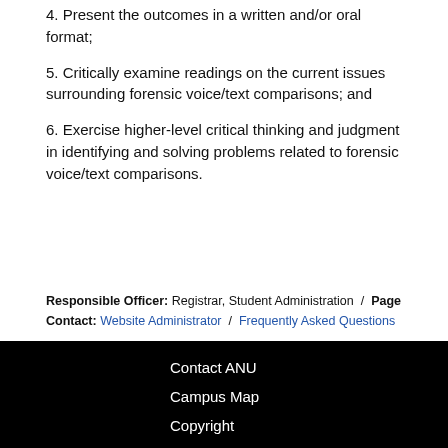4. Present the outcomes in a written and/or oral format;
5. Critically examine readings on the current issues surrounding forensic voice/text comparisons; and
6. Exercise higher-level critical thinking and judgment in identifying and solving problems related to forensic voice/text comparisons.
Responsible Officer: Registrar, Student Administration / Page Contact: Website Administrator / Frequently Asked Questions
Contact ANU
Campus Map
Copyright
Disclaimer
Privacy
Freedom of